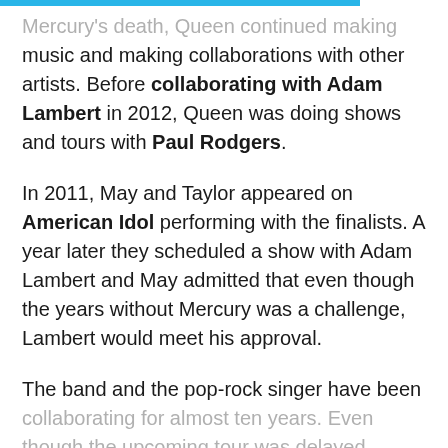Mercury's death, Queen continued making music and making collaborations with other artists. Before collaborating with Adam Lambert in 2012, Queen was doing shows and tours with Paul Rodgers.
In 2011, May and Taylor appeared on American Idol performing with the finalists. A year later they scheduled a show with Adam Lambert and May admitted that even though the years without Mercury was a challenge, Lambert would meet his approval.
The band and the pop-rock singer have been collaborating for almost ten years. Even though the upcoming tour was delayed